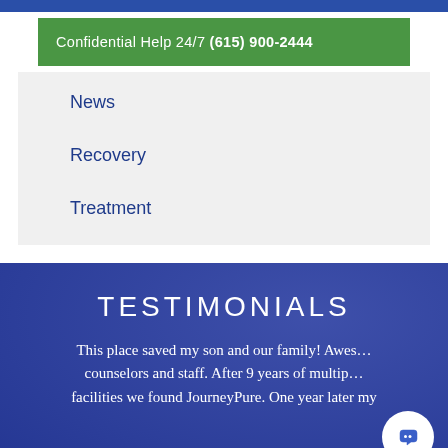Confidential Help 24/7 (615) 900-2444
News
Recovery
Treatment
TESTIMONIALS
This place saved my son and our family! Awesome counselors and staff. After 9 years of multiple facilities we found JourneyPure. One year later my